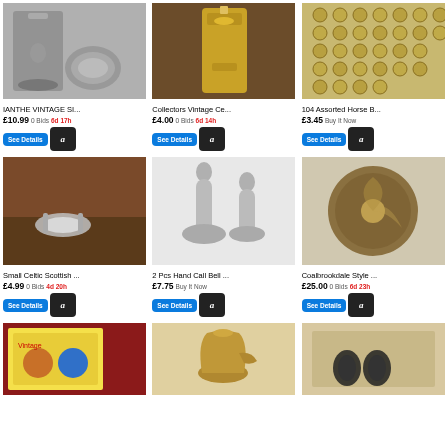[Figure (photo): Silver candlestick and decorative bowl, vintage metalware]
IANTHE VINTAGE SI...
£10.99 0 Bids 6d 17h
[Figure (photo): Collectors vintage ceremonial oil lamp, gold colored]
Collectors Vintage Ce...
£4.00 0 Bids 6d 14h
[Figure (photo): 104 assorted horse brass medallions spread out]
104 Assorted Horse B...
£3.45 Buy It Now
[Figure (photo): Small Celtic Scottish tea strainer on wooden surface]
Small Celtic Scottish ...
£4.99 0 Bids 4d 20h
[Figure (photo): 2 silver hand call bells, polished metal]
2 Pcs Hand Call Bell ...
£7.75 Buy It Now
[Figure (photo): Coalbrookdale style ornate cast iron decorative plate]
Coalbrookdale Style ...
£25.00 0 Bids 6d 23h
[Figure (photo): Vintage children's book or game with illustrated cover]
[Figure (photo): Gold brass vintage pitcher or jug]
[Figure (photo): Decorative earrings on display card]